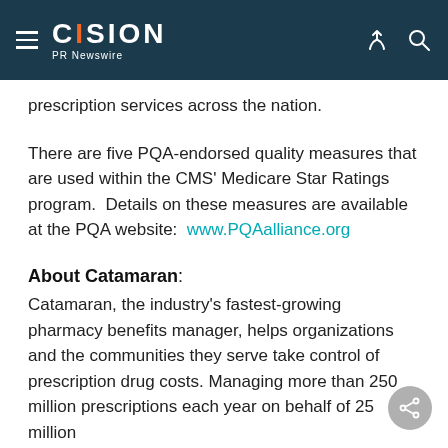CISION PR Newswire
prescription services across the nation.
There are five PQA-endorsed quality measures that are used within the CMS' Medicare Star Ratings program.  Details on these measures are available at the PQA website:  www.PQAalliance.org
About Catamaran:
Catamaran, the industry's fastest-growing pharmacy benefits manager, helps organizations and the communities they serve take control of prescription drug costs. Managing more than 250 million prescriptions each year on behalf of 25 million